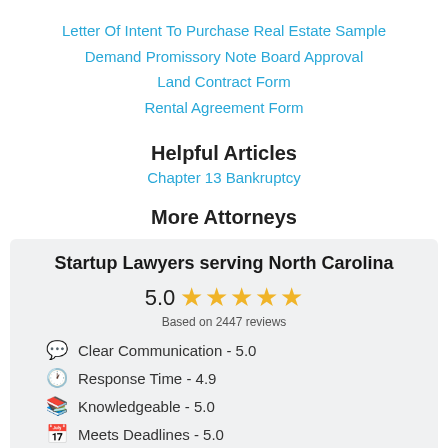Letter Of Intent To Purchase Real Estate Sample
Demand Promissory Note Board Approval
Land Contract Form
Rental Agreement Form
Helpful Articles
Chapter 13 Bankruptcy
More Attorneys
Startup Lawyers serving North Carolina
5.0 ★★★★★
Based on 2447 reviews
Clear Communication - 5.0
Response Time - 4.9
Knowledgeable - 5.0
Meets Deadlines - 5.0